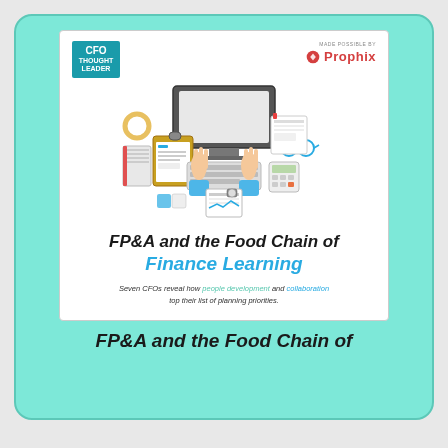[Figure (illustration): Book cover thumbnail for 'FP&A and the Food Chain of Finance Learning'. White cover with CFO Thought Leader logo top-left, Prophix logo top-right, illustration of hands at a desk with computer monitor, keyboard, clipboard, calculator and office items, bold italic title text in black and blue, subtitle text in italic.]
FP&A and the Food Chain of